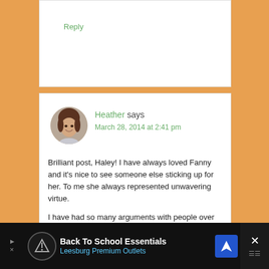Reply
Heather says
March 28, 2014 at 2:41 pm
Brilliant post, Haley! I have always loved Fanny and it's nice to see someone else sticking up for her. To me she always represented unwavering virtue.
I have had so many arguments with people over whether or not Fanny should have participated in that play. I always take her side and most people,
[Figure (infographic): Advertisement bar at bottom: Back To School Essentials - Leesburg Premium Outlets, with logos and close button]